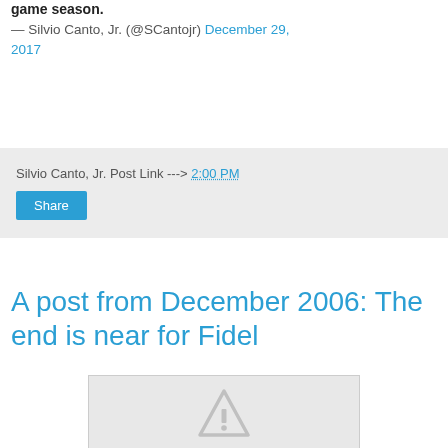game season.
— Silvio Canto, Jr. (@SCantojr) December 29, 2017
Silvio Canto, Jr. Post Link ---> 2:00 PM
Share
A post from December 2006: The end is near for Fidel
[Figure (other): Broken/missing image placeholder with warning triangle icon]